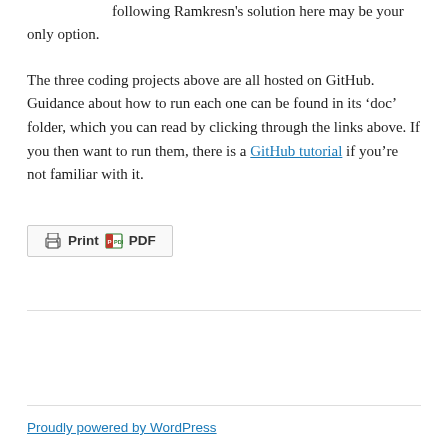following Ramkresn's solution here may be your only option.
The three coding projects above are all hosted on GitHub. Guidance about how to run each one can be found in its ‘doc’ folder, which you can read by clicking through the links above. If you then want to run them, there is a GitHub tutorial if you’re not familiar with it.
[Figure (other): Print / PDF button with printer and PDF icons]
Proudly powered by WordPress